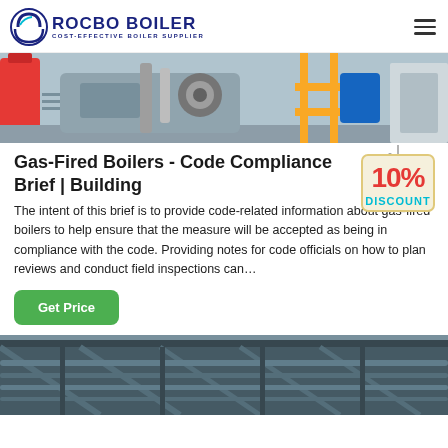ROCBO BOILER - COST-EFFECTIVE BOILER SUPPLIER
[Figure (photo): Industrial gas-fired boiler equipment with red tanks, pipes, and yellow safety railings]
Gas-Fired Boilers - Code Compliance Brief | Building
[Figure (illustration): 10% DISCOUNT badge/sticker]
The intent of this brief is to provide code-related information about gas-fired boilers to help ensure that the measure will be accepted as being in compliance with the code. Providing notes for code officials on how to plan reviews and conduct field inspections can…
[Figure (photo): Industrial interior with pipes and steel structure on ceiling]